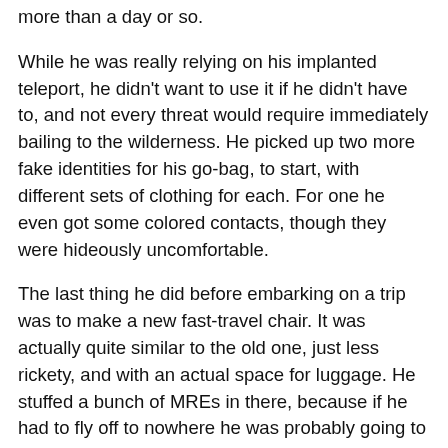more than a day or so.
While he was really relying on his implanted teleport, he didn't want to use it if he didn't have to, and not every threat would require immediately bailing to the wilderness. He picked up two more fake identities for his go-bag, to start, with different sets of clothing for each. For one he even got some colored contacts, though they were hideously uncomfortable.
The last thing he did before embarking on a trip was to make a new fast-travel chair. It was actually quite similar to the old one, just less rickety, and with an actual space for luggage. He stuffed a bunch of MREs in there, because if he had to fly off to nowhere he was probably going to be completely out of energy. Once that was finished, he packed up his supplies and headed off to make the best bolt-hole he could.
He drove his motorhome off to the nearest likely national forest, which took up most of the time he'd allotted. There just weren't any near the Mississippi River. He had a big pack made up that combined some survival supplies, like food and emergency equipment...